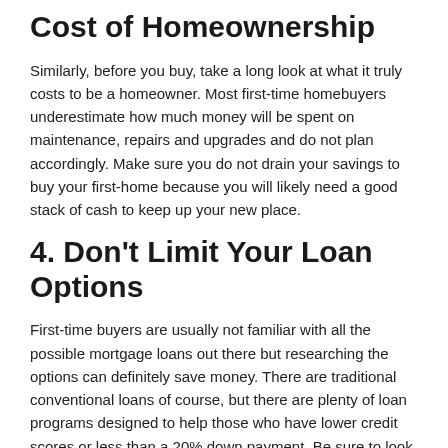Cost of Homeownership
Similarly, before you buy, take a long look at what it truly costs to be a homeowner. Most first-time homebuyers underestimate how much money will be spent on maintenance, repairs and upgrades and do not plan accordingly. Make sure you do not drain your savings to buy your first-home because you will likely need a good stack of cash to keep up your new place.
4. Don't Limit Your Loan Options
First-time buyers are usually not familiar with all the possible mortgage loans out there but researching the options can definitely save money. There are traditional conventional loans of course, but there are plenty of loan programs designed to help those who have lower credit scores or less than a 20% down payment. Be sure to look into FHA loans, VA or USDA loans if they apply and even piggy-back mortgages. Call us today at 843-492-6871 to